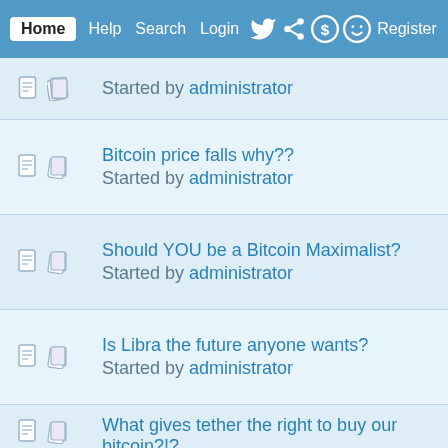Home Help Search Login Register
Started by administrator
Bitcoin price falls why?? Started by administrator
Should YOU be a Bitcoin Maximalist? Started by administrator
Is Libra the future anyone wants? Started by administrator
What gives tether the right to buy our bitcoin?!? Started by administrator